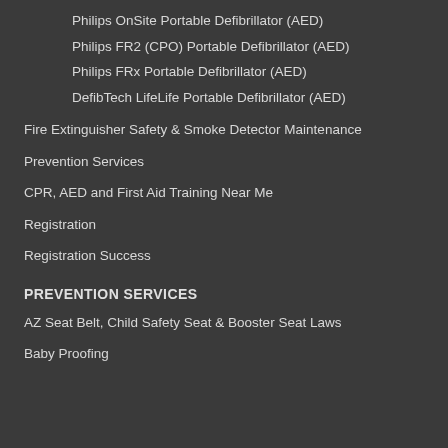Philips OnSite Portable Defibrillator (AED)
Philips FR2 (CPO) Portable Defibrillator (AED)
Philips FRx Portable Defibrillator (AED)
DefibTech LifeLife Portable Defibrillator (AED)
Fire Extinguisher Safety & Smoke Detector Maintenance
Prevention Services
CPR, AED and First Aid Training Near Me
Registration
Registration Success
PREVENTION SERVICES
AZ Seat Belt, Child Safety Seat & Booster Seat Laws
Baby Proofing